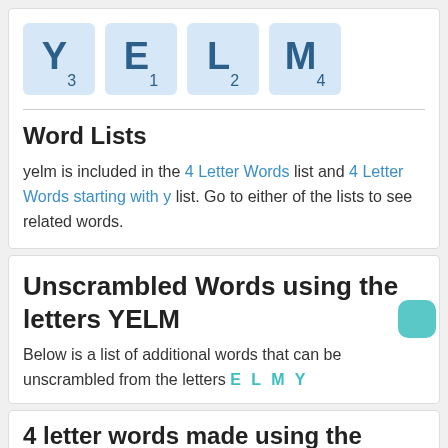[Figure (illustration): Four Scrabble-style letter tiles showing Y3, E1, L2, M4 in light blue squares]
Word Lists
yelm is included in the 4 Letter Words list and 4 Letter Words starting with y list. Go to either of the lists to see related words.
Unscrambled Words using the letters YELM
Below is a list of additional words that can be unscrambled from the letters E L M Y
4 letter words made using the letters YELM